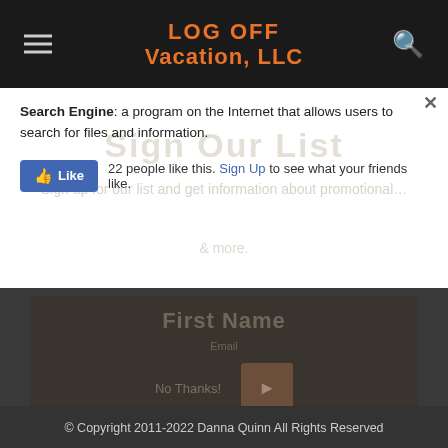LOG OFF Vacation, LLC
Search Engine: a program on the Internet that allows users to search for files and information.
[Figure (screenshot): Facebook Like widget showing 22 people like this with Sign Up link]
[Figure (screenshot): Semi-transparent popup overlay with Sign Up Our List text and promotional information, No Thanks button and submit button]
© Copyright 2011-2022 Danna Quinn All Rights Reserved